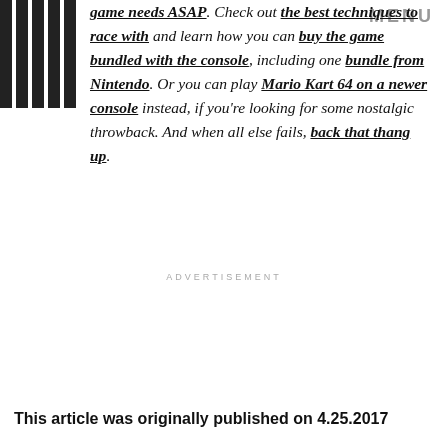MENU
game needs ASAP. Check out the best techniques to race with and learn how you can buy the game bundled with the console, including one bundle from Nintendo. Or you can play Mario Kart 64 on a newer console instead, if you're looking for some nostalgic throwback. And when all else fails, back that thang up.
ADVERTISEMENT
This article was originally published on 4.25.2017